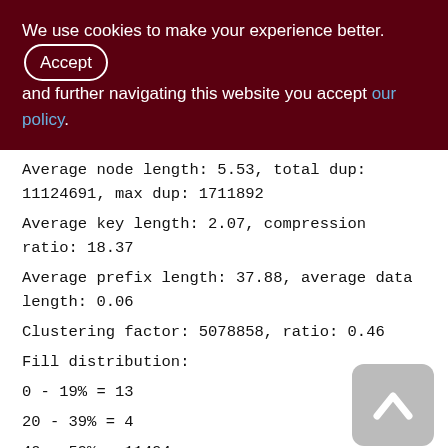We use cookies to make your experience better. By Accept and further navigating this website you accept our policy.
Average node length: 5.53, total dup: 11124691, max dup: 1711892
Average key length: 2.07, compression ratio: 18.37
Average prefix length: 37.88, average data length: 0.06
Clustering factor: 5078858, ratio: 0.46
Fill distribution:
0 - 19% = 13
20 - 39% = 4
40 - 59% = 11494
60 - 79% = 382